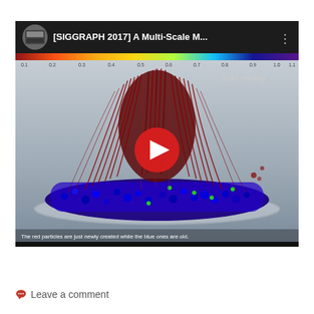[Figure (screenshot): YouTube video thumbnail for '[SIGGRAPH 2017] A Multi-Scale M...' showing a 3D simulation of hair particles (dark red strands) over a mass of blue particles in a bowl-shaped container, with a red YouTube play button in the center. Top bar shows video title and thumbnail. A color spectrum bar is visible at the top of the video scene. Text '1/4x replay' in the upper right of the scene. Subtitle reads: 'The red particles are just newly created while the blue ones are old.']
Leave a comment